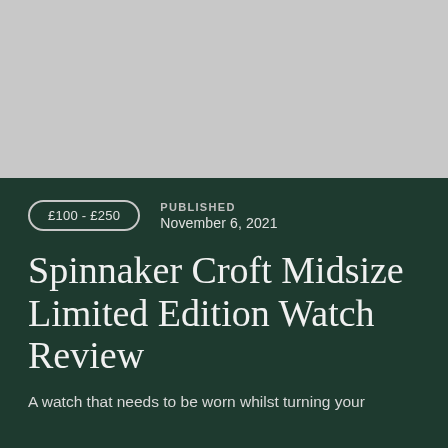[Figure (photo): Gray placeholder image area at the top of the page]
£100 - £250
PUBLISHED
November 6, 2021
Spinnaker Croft Midsize Limited Edition Watch Review
A watch that needs to be worn whilst turning your